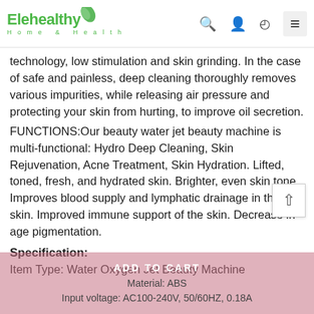Elehealthy Home & Health
technology, low stimulation and skin grinding. In the case of safe and painless, deep cleaning thoroughly removes various impurities, while releasing air pressure and protecting your skin from hurting, to improve oil secretion.
FUNCTIONS:Our beauty water jet beauty machine is multi-functional: Hydro Deep Cleaning, Skin Rejuvenation, Acne Treatment, Skin Hydration. Lifted, toned, fresh, and hydrated skin. Brighter, even skin tone. Improves blood supply and lymphatic drainage in the skin. Improved immune support of the skin. Decrease in age pigmentation.
Specification:
Item Type: Water Oxygen Jet Beauty Machine
Material: ABS
Input voltage: AC100-240V, 50/60HZ, 0.18A